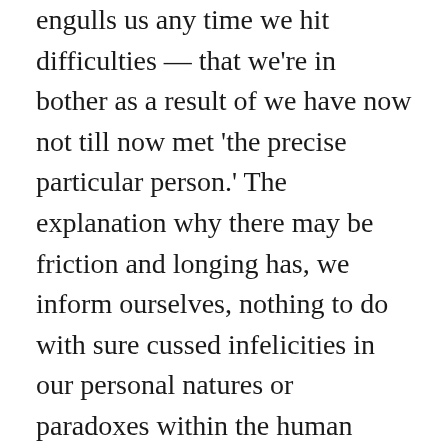engulls us any time we hit difficulties — that we're in bother as a result of we have now not till now met 'the precise particular person.' The explanation why there may be friction and longing has, we inform ourselves, nothing to do with sure cussed infelicities in our personal natures or paradoxes within the human situation as a complete, it's only a matter of needing to hunt additional for a extra affordable candidate who will, ultimately, see issues our manner.
The promise of alternative has drained us of the persistence and modesty essential to grapple with the tensions which might be susceptible to come back our manner whomever we may be with. We overlook that